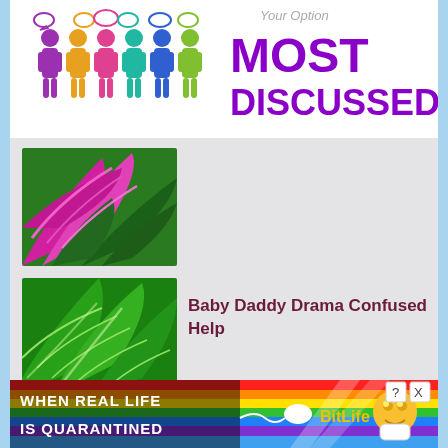[Figure (illustration): Most Discussed banner with colorful silhouette people icons and speech bubbles, purple text reading 'Your Option MOST DISCUSSED...']
[Figure (photo): Close-up photo of pink and green tropical plant leaves]
[Figure (photo): Close-up photo of green tropical leaves with light veining patterns]
Baby Daddy Drama Confused Help
[Figure (photo): Close-up photo of white and purple flower with brown center details]
How To Tell My Family I M Pregnant
[Figure (advertisement): BitLife game advertisement with rainbow background, text 'WHEN REAL LIFE IS QUARANTINED', star-eyed emoji character, and thumbs up]